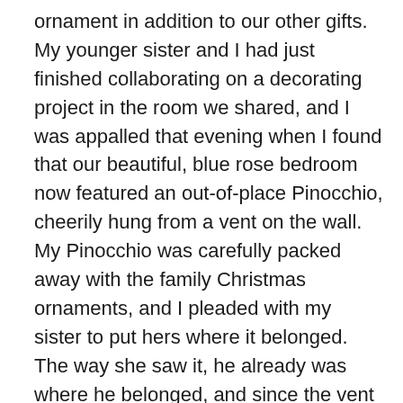ornament in addition to our other gifts. My younger sister and I had just finished collaborating on a decorating project in the room we shared, and I was appalled that evening when I found that our beautiful, blue rose bedroom now featured an out-of-place Pinocchio, cheerily hung from a vent on the wall. My Pinocchio was carefully packed away with the family Christmas ornaments, and I pleaded with my sister to put hers where it belonged. The way she saw it, he already was where he belonged, and since the vent was on her side of the room, all I could do was try to ignore what I considered her lack of design sense.
After that Christmas, Grandpa made a habit of getting each grandchild an ornament for Christmas. He would purchase them on sale on the 26th of December, and I soon began looking forward to unwrapping these